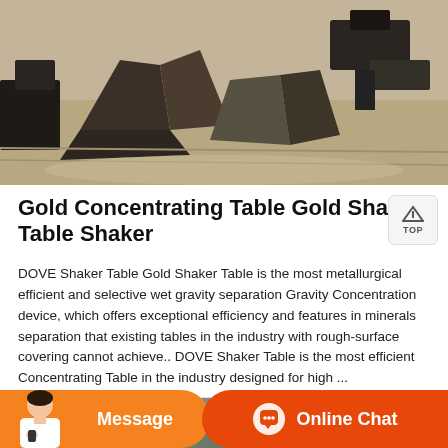[Figure (photo): Mining equipment and rock/ore material scattered on sandy ground, industrial machinery visible in background]
Gold Concentrating Table Gold Shaker Table Shaker
DOVE Shaker Table Gold Shaker Table is the most metallurgical efficient and selective wet gravity separation Gravity Concentration device, which offers exceptional efficiency and features in minerals separation that existing tables in the industry with rough-surface covering cannot achieve.. DOVE Shaker Table is the most efficient Concentrating Table in the industry designed for high ...
[Figure (photo): Industrial mining machinery with large black funnel/hopper and orange/red conveyor equipment inside a facility]